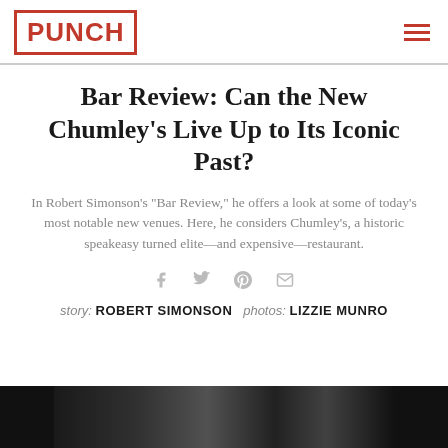PUNCH
Bar Review: Can the New Chumley's Live Up to Its Iconic Past?
In Robert Simonson's "Bar Review," he offers a look at some of today's most notable new venues. Here, he considers Chumley's, a historic speakeasy turned elite—and expensive—restaurant.
[Figure (other): Social media sharing icons: Facebook, Twitter, Pinterest, Email]
story: ROBERT SIMONSON   photos: LIZZIE MUNRO
[Figure (photo): Black and white photograph of Chumley's bar interior]